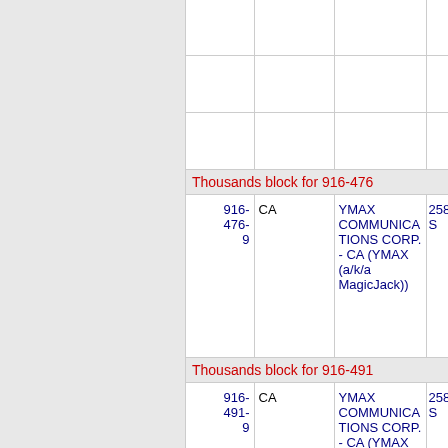Thousands block for 916-476
| Number | State | Name | Code |
| --- | --- | --- | --- |
| 916-476-9 | CA | YMAX COMMUNICATIONS CORP. - CA (YMAX (a/k/a MagicJack)) | 258E S |
Thousands block for 916-491
| Number | State | Name | Code |
| --- | --- | --- | --- |
| 916-491-9 | CA | YMAX COMMUNICATIONS CORP. - CA (YMAX (a/k/a MagicJack)) | 258E S |